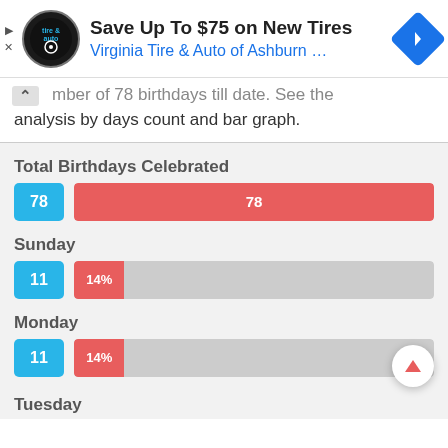[Figure (advertisement): Ad banner: Virginia Tire & Auto logo, 'Save Up To $75 on New Tires', blue navigation arrow icon]
…mber of 78 birthdays till date. See the analysis by days count and bar graph.
Total Birthdays Celebrated
[Figure (bar-chart): Total Birthdays Celebrated]
Sunday
[Figure (bar-chart): Sunday]
Monday
[Figure (bar-chart): Monday]
Tuesday